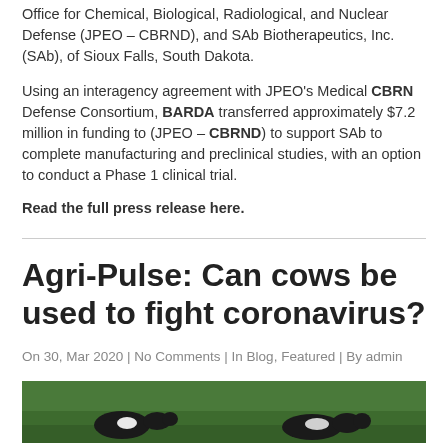Office for Chemical, Biological, Radiological, and Nuclear Defense (JPEO – CBRND), and SAb Biotherapeutics, Inc. (SAb), of Sioux Falls, South Dakota.
Using an interagency agreement with JPEO's Medical CBRN Defense Consortium, BARDA transferred approximately $7.2 million in funding to (JPEO – CBRND) to support SAb to complete manufacturing and preclinical studies, with an option to conduct a Phase 1 clinical trial.
Read the full press release here.
Agri-Pulse: Can cows be used to fight coronavirus?
On 30, Mar 2020 | No Comments | In Blog, Featured | By admin
[Figure (photo): Photo of cows in a green field]